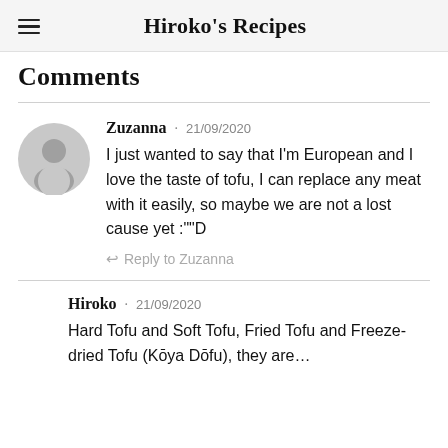Hiroko's Recipes
Comments
Zuzanna · 21/09/2020
I just wanted to say that I'm European and I love the taste of tofu, I can replace any meat with it easily, so maybe we are not a lost cause yet :""D
↩ Reply to Zuzanna
Hiroko · 21/09/2020
Hard Tofu and Soft Tofu, Fried Tofu and Freeze-dried Tofu (Kōya Dōfu), they are…